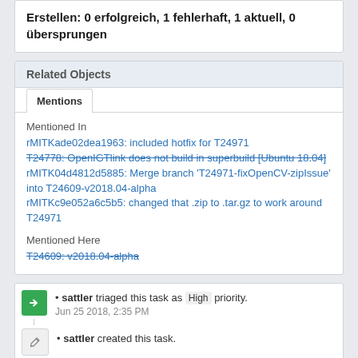Erstellen: 0 erfolgreich, 1 fehlerhaft, 1 aktuell, 0 übersprungen
Related Objects
Mentions
Mentioned In
rMITKade02dea1963: included hotfix for T24971
T24778: OpenIGTlink does not build in superbuild [Ubuntu 18.04]
rMITK04d4812d5885: Merge branch 'T24971-fixOpenCV-zipIssue' into T24609-v2018.04-alpha
rMITKc9e052a6c5b5: changed that .zip to .tar.gz to work around T24971
Mentioned Here
T24609: v2018.04-alpha
• sattler triaged this task as High priority.
Jun 25 2018, 2:35 PM
• sattler created this task.